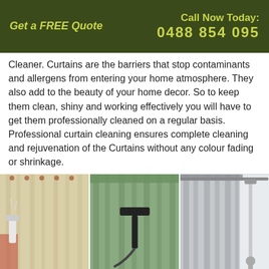Get a FREE Quote    Call Now Today: 0488 854 095
Cleaner. Curtains are the barriers that stop contaminants and allergens from entering your home atmosphere. They also add to the beauty of your home decor. So to keep them clean, shiny and working effectively you will have to get them professionally cleaned on a regular basis. Professional curtain cleaning ensures complete cleaning and rejuvenation of the Curtains without any colour fading or shrinkage.
[Figure (photo): Three side-by-side photos of curtain cleaning: left shows cream/beige curtains being cleaned with a steam cleaner tool held by a person; center shows green/sage pleated curtains with a black cleaning attachment; right shows grey pleated curtains with a long pole cleaning tool near a window.]
Curtains Cleaning Melbourne